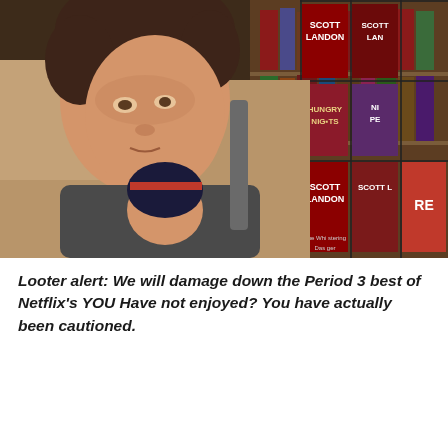[Figure (photo): A man with curly dark hair wearing a tan cardigan with a baby carrier on his chest, carrying a sleeping infant in a dark knit hat. He is standing in what appears to be a bookstore or library, with a wire book rack displaying books labeled 'Scott Landon' and 'Hungry Nights' visible to his right, and bookshelves in the background.]
Looter alert: We will damage down the Period 3 best of Netflix's YOU Have not enjoyed? You have actually been cautioned.